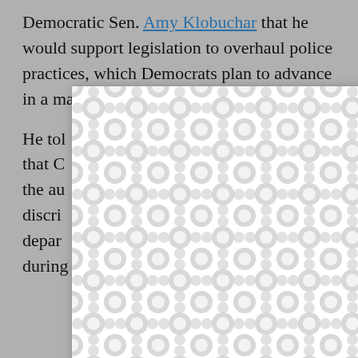Democratic Sen. Amy Klobuchar that he would support legislation to overhaul police practices, which Democrats plan to advance in a major bill.
He told [obscured] irono that Co[obscured]ment the au[obscured]te discri[obscured]ice depart[obscured]ed during[obscured]
[Figure (other): A modal/popup overlay with a decorative repeating pattern (interlocking circles/blobs in grey and white) and a close (X) button in the top right corner, partially obscuring the body text.]
And Ga[obscured]are Democratic Sen. Chris Coons, said he would support more funding for police body cameras, an important accountability tool.